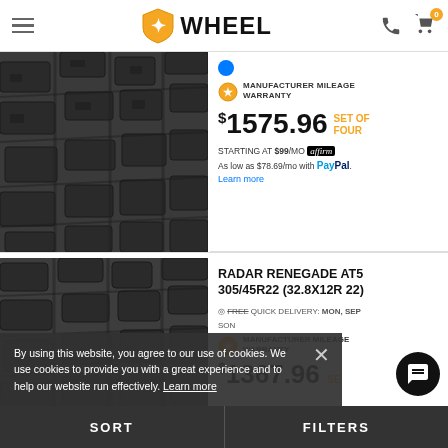WHEEL — navigation header with logo, menu, phone and cart icons
[Figure (photo): Close-up of tire tread pattern, dark grey]
MANUFACTURER MILEAGE WARRANTY
$1575.96 SET OF FOUR
STARTING AT $99/MO affirm
As low as $78.69/mo with PayPal. Learn more
RADAR RENEGADE AT5 305/45R22 (32.8X12R 22)
FREE QUICK DELIVERY: MON, SEP
MANUFACTURER MILEAGE WARRANTY
$1367.96 SE...
By using this website, you agree to our use of cookies. We use cookies to provide you with a great experience and to help our website run effectively. Learn more
SORT | FILTERS